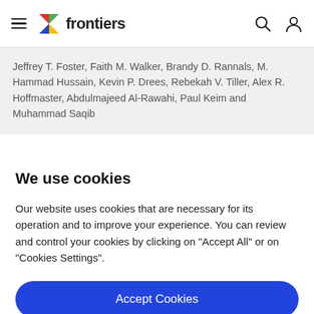frontiers
Jeffrey T. Foster, Faith M. Walker, Brandy D. Rannals, M. Hammad Hussain, Kevin P. Drees, Rebekah V. Tiller, Alex R. Hoffmaster, Abdulmajeed Al-Rawahi, Paul Keim and Muhammad Saqib
We use cookies
Our website uses cookies that are necessary for its operation and to improve your experience. You can review and control your cookies by clicking on "Accept All" or on "Cookies Settings".
Accept Cookies
Cookies Settings